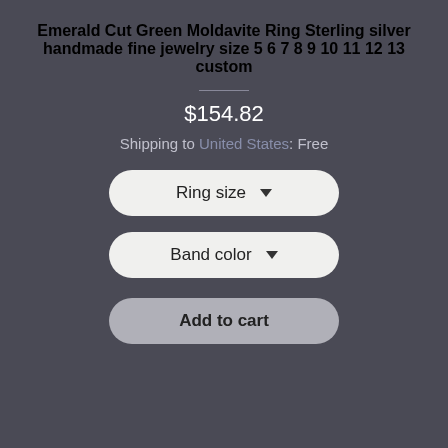Emerald Cut Green Moldavite Ring Sterling silver handmade fine jewelry size 5 6 7 8 9 10 11 12 13 custom
$154.82
Shipping to United States: Free
Ring size
Band color
Add to cart